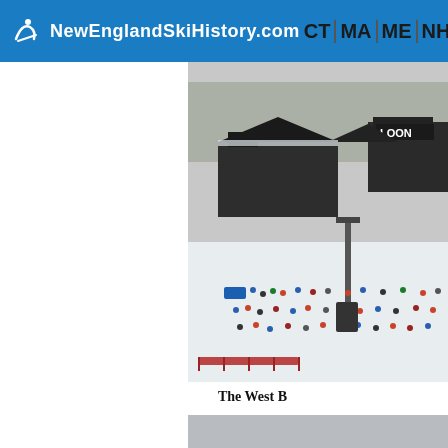NewEnglandSkiHistory.com  CT MA ME NH RI VT Ski
[Figure (photo): Aerial view of Loon Mountain ski resort base area with crowds of skiers on snow, showing the main lodge buildings with 'LOON' signage, lift equipment, and many people gathered in the base area.]
The West B...
[Figure (photo): Mountain landscape photo showing a dark ridgeline against an overcast grey sky, with sparse trees on the hillside.]